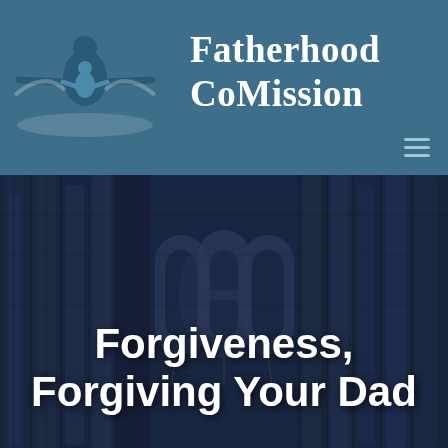[Figure (logo): Fatherhood CoMission logo with silhouette of adult and child figures with outstretched arms]
Fatherhood CoMission
[Figure (photo): Dark navy-tinted photo of many neckties hanging on display with 'DAD' balloon letters in the center]
Forgiveness, Forgiving Your Dad